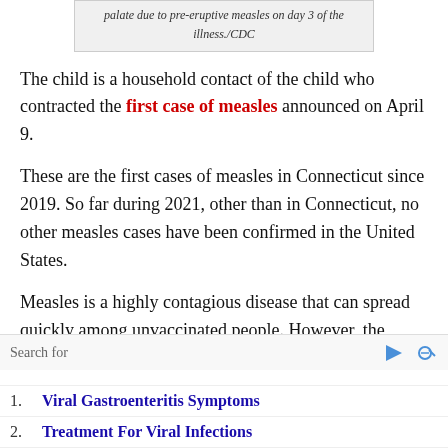palate due to pre-eruptive measles on day 3 of the illness./CDC
The child is a household contact of the child who contracted the first case of measles announced on April 9.
These are the first cases of measles in Connecticut since 2019. So far during 2021, other than in Connecticut, no other measles cases have been confirmed in the United States.
Measles is a highly contagious disease that can spread quickly among unvaccinated people. However, the majority of people exposed to measles are not at-risk of
Search for
1. Viral Gastroenteritis Symptoms
2. Treatment For Viral Infections